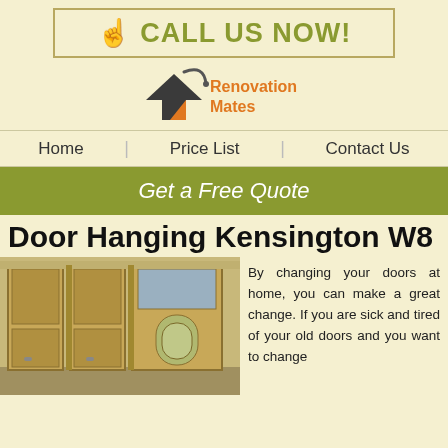☝ CALL US NOW!
[Figure (logo): Renovation Mates logo with house icon and orange text]
Home   Price List   Contact Us
Get a Free Quote
Door Hanging Kensington W8
[Figure (photo): Photo of wooden interior doors with glass panels in a hallway]
By changing your doors at home, you can make a great change. If you are sick and tired of your old doors and you want to change